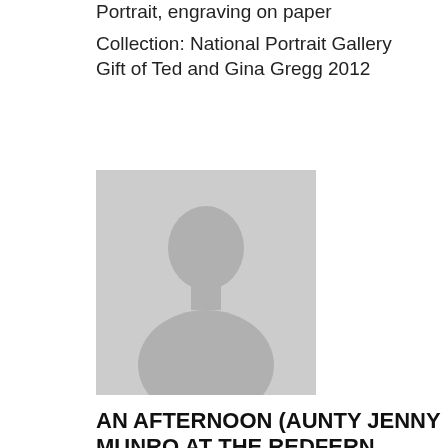Portrait, engraving on paper
Collection: National Portrait Gallery
Gift of Ted and Gina Gregg 2012
[Figure (photo): Placeholder silhouette image of a person's portrait, grey background with grey figure outline.]
AN AFTERNOON (AUNTY JENNY MUNRO AT THE REDFERN ABORIGINAL TENT EMBASSY),